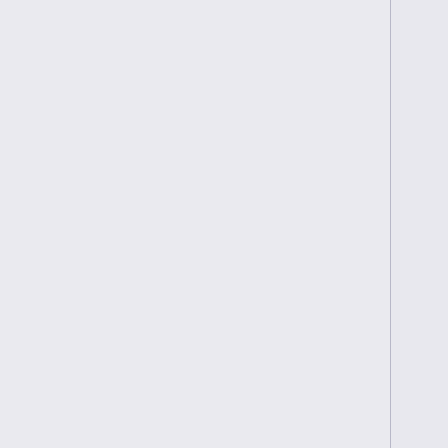| Volume Four: Fugitives | A Clear and Present Danger • Trust and Blood • Building 26 • Cold Wars • Exposed • Shades of Gray • Cold Snap • Into Asylum • Turn and Face the Strange • 1961 • I Am Sylar • An Invisible Thread |
| Season Four |  |
| Volume Five: Redemption | Orientation / Jump, Push, Fall • Ink • Acceptance • Hysterical Blindness • Tabula Rasa • Strange Attractors • Once Upon a Time in Texas • Shadowboxing • Brother's Keeper • Thanksgiving • The Fifth Stage • Upon This Rock • Let It Bleed • Close to You • Pass/Fail • The Art of Deception • The Wall • Brave New World |
| Heroes Reborn |  |
| Volume One: | Brave New World • Odessa • Under the Mask • The Needs of the Many • The Lion's Den • Game Over • June 13th, Part One • |